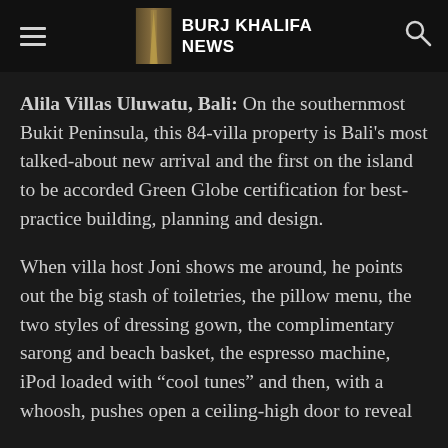BURJ KHALIFA NEWS
Alila Villas Uluwatu, Bali: On the southernmost Bukit Peninsula, this 84-villa property is Bali's most talked-about new arrival and the first on the island to be accorded Green Globe certification for best-practice building, planning and design.
When villa host Joni shows me around, he points out the big stash of toiletries, the pillow menu, the two styles of dressing gown, the complimentary sarong and beach basket, the espresso machine, iPod loaded with “cool tunes” and then, with a whoosh, pushes open a ceiling-high door to reveal